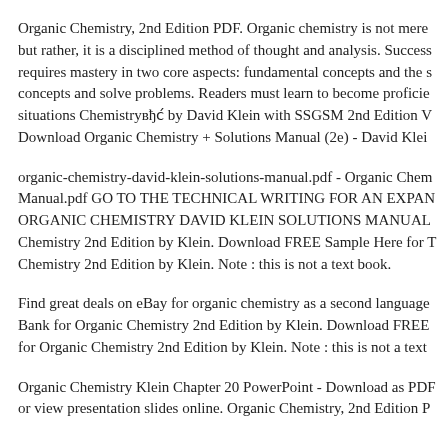Organic Chemistry, 2nd Edition PDF. Organic chemistry is not merely but rather, it is a disciplined method of thought and analysis. Success requires mastery in two core aspects: fundamental concepts and the s concepts and solve problems. Readers must learn to become proficie situations Chemistryвђс́ by David Klein with SSGSM 2nd Edition V Download Organic Chemistry + Solutions Manual (2e) - David Klei
organic-chemistry-david-klein-solutions-manual.pdf - Organic Chem Manual.pdf GO TO THE TECHNICAL WRITING FOR AN EXPAN ORGANIC CHEMISTRY DAVID KLEIN SOLUTIONS MANUAL Chemistry 2nd Edition by Klein. Download FREE Sample Here for T Chemistry 2nd Edition by Klein. Note : this is not a text book.
Find great deals on eBay for organic chemistry as a second language Bank for Organic Chemistry 2nd Edition by Klein. Download FREE for Organic Chemistry 2nd Edition by Klein. Note : this is not a text
Organic Chemistry Klein Chapter 20 PowerPoint - Download as PDF or view presentation slides online. Organic Chemistry, 2nd Edition P